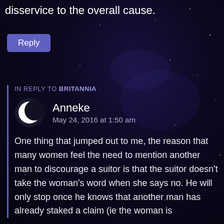disservice to the overall cause.
Reply
IN REPLY TO BRITANNIA
[Figure (illustration): Crescent moon avatar icon — white crescent on dark circle background]
Anneke
May 24, 2016 at 1:50 am
One thing that jumped out to me, the reason that many women feel the need to mention another man to discourage a suitor is that the suitor doesn't take the woman's word when she says no. He will only stop once he knows that another man has already staked a claim (ie the woman is